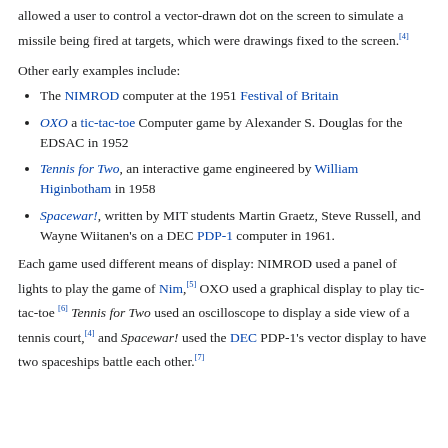allowed a user to control a vector-drawn dot on the screen to simulate a missile being fired at targets, which were drawings fixed to the screen.[4]
Other early examples include:
The NIMROD computer at the 1951 Festival of Britain
OXO a tic-tac-toe Computer game by Alexander S. Douglas for the EDSAC in 1952
Tennis for Two, an interactive game engineered by William Higinbotham in 1958
Spacewar!, written by MIT students Martin Graetz, Steve Russell, and Wayne Wiitanen's on a DEC PDP-1 computer in 1961.
Each game used different means of display: NIMROD used a panel of lights to play the game of Nim,[5] OXO used a graphical display to play tic-tac-toe [6] Tennis for Two used an oscilloscope to display a side view of a tennis court,[4] and Spacewar! used the DEC PDP-1's vector display to have two spaceships battle each other.[7]